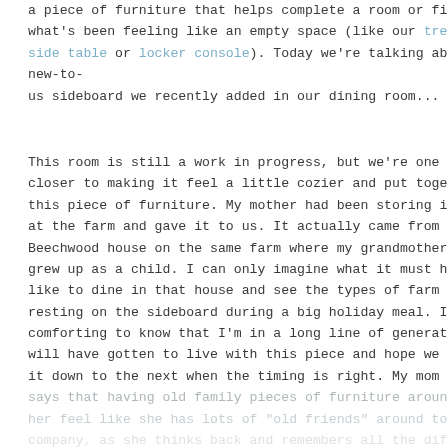a piece of furniture that helps complete a room or fill up what's been feeling like an empty space (like our tree stump side table or locker console). Today we're talking about the new-to-us sideboard we recently added in our dining room...
This room is still a work in progress, but we're one step closer to making it feel a little cozier and put together with this piece of furniture. My mother had been storing it down at the farm and gave it to us. It actually came from the old Beechwood house on the same farm where my grandmother grew up as a child. I can only imagine what it must have been like to dine in that house and see the types of farm dishes resting on the sideboard during a big holiday meal. I find it comforting to know that I'm in a long line of generations that will have gotten to live with this piece and hope we can pass it down to the next when the timing is right. My mom often says that having old family pieces of furniture around makes her feel like she has lots of "old friends" around to keep her company, as she thinks back and remembers all the different